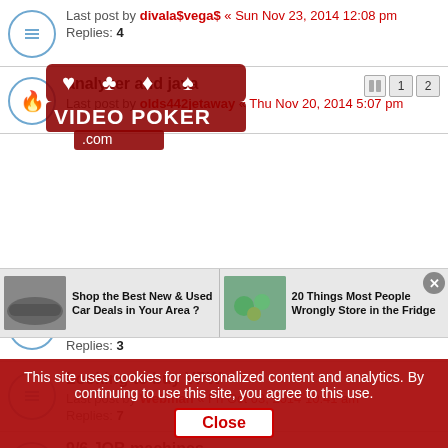Last post by divala$vega$ « Sun Nov 23, 2014 12:08 pm
Replies: 4
analyzer and java
Last post by olds442jetaway « Thu Nov 20, 2014 5:07 pm
Pages: 1 2
[Figure (logo): VideoPoker.com watermark logo with card suits]
Mobile App for Android vs iPad
Last post by alpax « Sat Nov 08, 2014 1:14 pm
Replies: 3
Looking to buy VPW
Last post by Webman « Fri Oct 03, 2014 10:41 am
Replies: 7
9/6 JOB machines
Last post by Vman96 « Sun Sep 14, 2014 1:08 pm
Replies: 1
Posting Pics
Last post by thegreatone24 « Mon Aug 25, 2014 11:46 pm
Replies: 2
[Figure (screenshot): Ad banner with car deals and food storage tips]
This site uses cookies for personalized content and analytics. By continuing to use this site, you agree to this use. Close